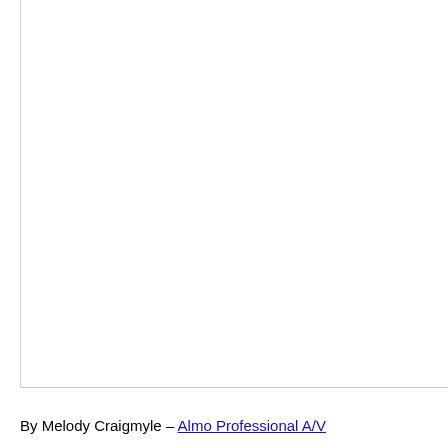[Figure (other): Large mostly blank white image area with left and bottom borders]
By Melody Craigmyle – Almo Professional A/V